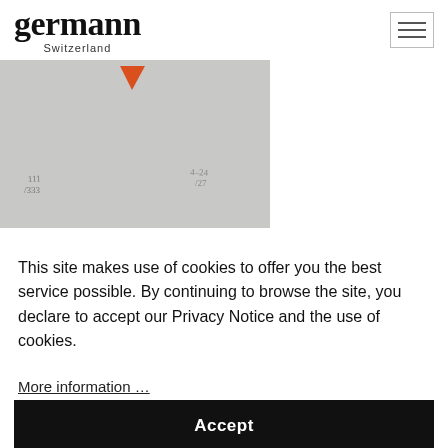germann Switzerland
[Figure (photo): Partial view of an artwork or print on grey paper with an orange triangle shape at the top and handwritten inscriptions at the bottom left and right corners.]
This site makes use of cookies to offer you the best service possible. By continuing to browse the site, you declare to accept our Privacy Notice and the use of cookies.
More information …
Accept
:30 pm
USD   220 / 330